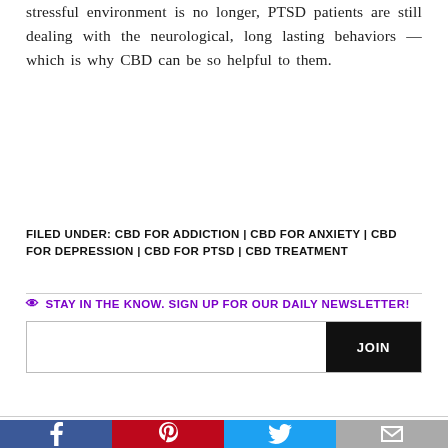stressful environment is no longer, PTSD patients are still dealing with the neurological, long lasting behaviors — which is why CBD can be so helpful to them.
FILED UNDER: CBD FOR ADDICTION | CBD FOR ANXIETY | CBD FOR DEPRESSION | CBD FOR PTSD | CBD TREATMENT
👁 STAY IN THE KNOW. SIGN UP FOR OUR DAILY NEWSLETTER!
[Figure (other): Email newsletter signup input box with JOIN button]